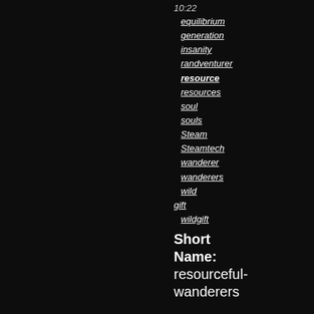10:22
equilibrium
generation
insanity
randventurer
resource
resources
soul
souls
Steam
Steamtech
wanderer
wanderers
wild
gift
wildgift
Short Name:
resourceful-wanderers
Help Wanderers make use of trees which